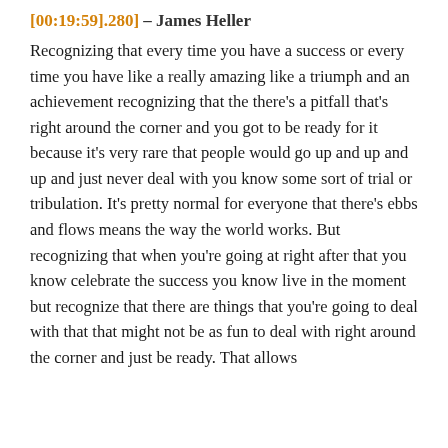[00:19:59].280] – James Heller
Recognizing that every time you have a success or every time you have like a really amazing like a triumph and an achievement recognizing that the there's a pitfall that's right around the corner and you got to be ready for it because it's very rare that people would go up and up and up and just never deal with you know some sort of trial or tribulation. It's pretty normal for everyone that there's ebbs and flows means the way the world works. But recognizing that when you're going at right after that you know celebrate the success you know live in the moment but recognize that there are things that you're going to deal with that that might not be as fun to deal with right around the corner and just be ready. That allows